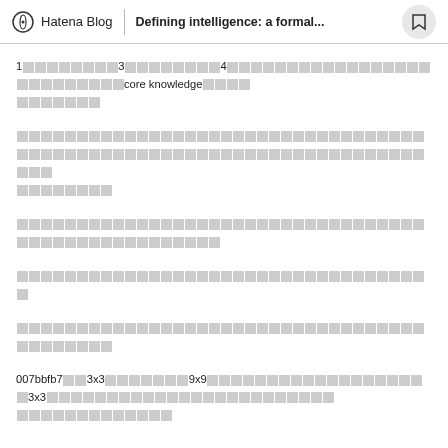Hatena Blog | Defining intelligence: a formal...
1□□□□□□□□3□□□□□□□□4□□□□□□□□□□□□□□□□□□□□□□□□□core knowledge□□□□□□□□□□□
□□□□□□□□□□□□□□□□□□□□□□□□□□□□□□□□□□□□□□□□□□□□□□□□□□□□□□□□□□□□□□□□□□□□□□□□□□□
□□□□□□□□□□□□□□□□□□□□□□□□□□□□□□□□□□□□□□□□□□□□□□□
□□□□□□□□□□□□□□□□□□□□□□□□□□□□□□□□□□
□□□□□□□□□□□□□□□□□□□□□□□□□□□□□□□□□□□□□□□□
007bbfb7□□3x3□□□□□□□9x9□□□□□□□□□□□□□□□□3x3□□□□□□□□□□□□□□□□□□□□□□□□□□□□□□□□□□□□□